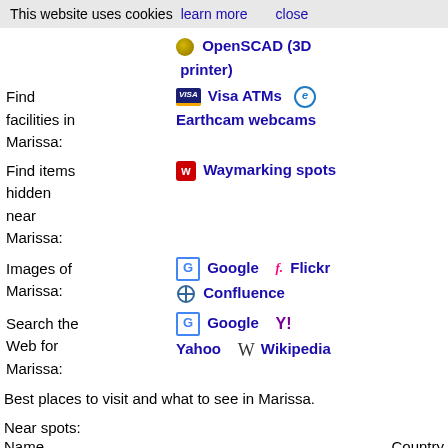This website uses cookies  learn more  close
OpenSCAD (3D printer)
Find facilities in Marissa: Visa ATMs  Earthcam webcams
Find items hidden near Marissa: Waymarking spots
Images of Marissa: Google  Flickr  Confluence
Search the Web for Marissa: Google  Yahoo  Wikipedia
Best places to visit and what to see in Marissa.
Near spots:
Name  Country